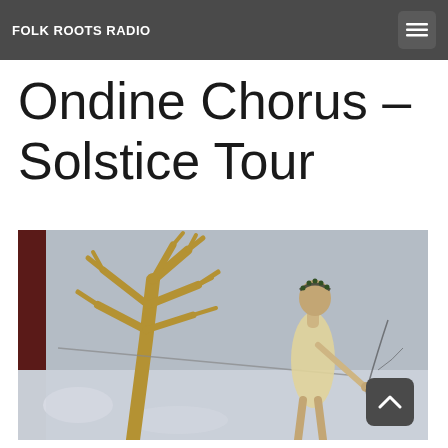FOLK ROOTS RADIO
Ondine Chorus – Solstice Tour
[Figure (illustration): A painterly illustration of a woman in a light yellow dress walking through a wintry scene, with a bare golden tree on the left against a pale grey background. The woman wears a wreath on her head and appears to be pulling something. The left edge shows a dark reddish vertical strip.]